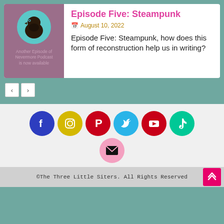[Figure (illustration): Podcast episode card with purple thumbnail showing a crow avatar and text 'Another Episode of Nevermore Podcast is now available']
Episode Five: Steampunk
August 10, 2022
Episode Five: Steampunk, how does this form of reconstruction help us in writing?
[Figure (infographic): Social media icons row: Facebook (blue), Instagram (yellow), Pinterest (red), Twitter (cyan), YouTube (red), TikTok (teal), Email (pink)]
©The Three Little Siters. All Rights Reserved